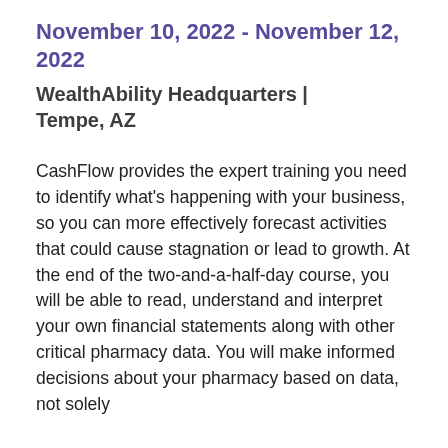November 10, 2022 - November 12, 2022
WealthAbility Headquarters | Tempe, AZ
CashFlow provides the expert training you need to identify what's happening with your business, so you can more effectively forecast activities that could cause stagnation or lead to growth. At the end of the two-and-a-half-day course, you will be able to read, understand and interpret your own financial statements along with other critical pharmacy data. You will make informed decisions about your pharmacy based on data, not solely